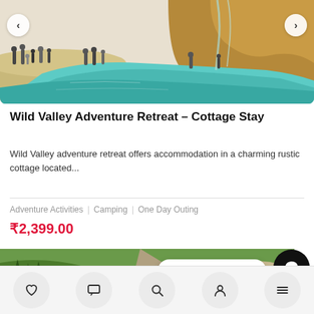[Figure (photo): Outdoor water pool/lagoon with people standing around the edges, rocky cliff background, turquoise water, children and adults visible]
Wild Valley Adventure Retreat – Cottage Stay
Wild Valley adventure retreat offers accommodation in a charming rustic cottage located...
Adventure Activities   Camping   One Day Outing
₹2,399.00
[Figure (photo): Outdoor natural landscape with trees and rocks, partially visible at bottom of page]
Have Questions?